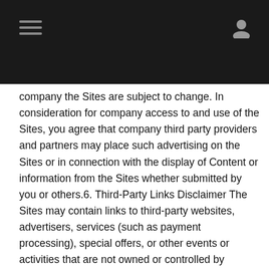company the Sites are subject to change. In consideration for company access to and use of the Sites, you agree that company third party providers and partners may place such advertising on the Sites or in connection with the display of Content or information from the Sites whether submitted by you or others.6. Third-Party Links Disclaimer The Sites may contain links to third-party websites, advertisers, services (such as payment processing), special offers, or other events or activities that are not owned or controlled by company. Company does not endorse or assume any responsibility for any such third-party sites, information, materials, products, or services. If you access a third party website from the Sites, you do so at your own risk, and you understand that these Terms